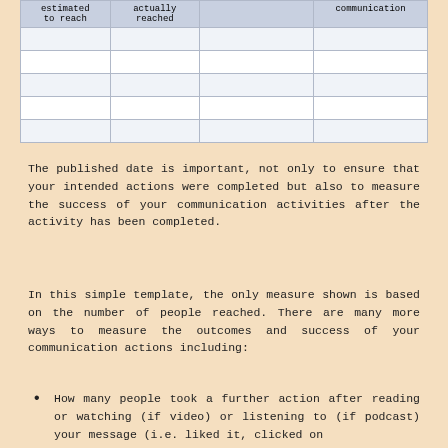| estimated to reach | actually reached |  | communication |
| --- | --- | --- | --- |
|  |  |  |  |
|  |  |  |  |
|  |  |  |  |
|  |  |  |  |
|  |  |  |  |
The published date is important, not only to ensure that your intended actions were completed but also to measure the success of your communication activities after the activity has been completed.
In this simple template, the only measure shown is based on the number of people reached. There are many more ways to measure the outcomes and success of your communication actions including:
How many people took a further action after reading or watching (if video) or listening to (if podcast) your message (i.e. liked it, clicked on